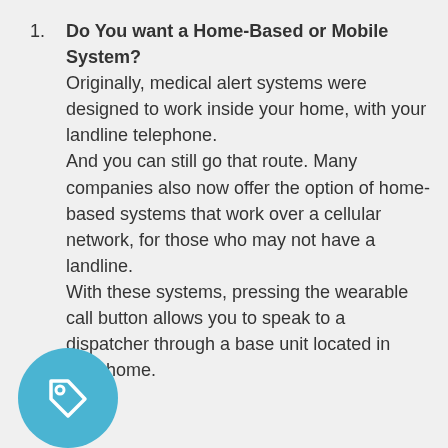Do You want a Home-Based or Mobile System? Originally, medical alert systems were designed to work inside your home, with your landline telephone.

And you can still go that route. Many companies also now offer the option of home-based systems that work over a cellular network, for those who may not have a landline.

With these systems, pressing the wearable call button allows you to speak to a dispatcher through a base unit located in your home.
[Figure (illustration): A teal/blue circle icon with a price tag / label outline symbol in white]